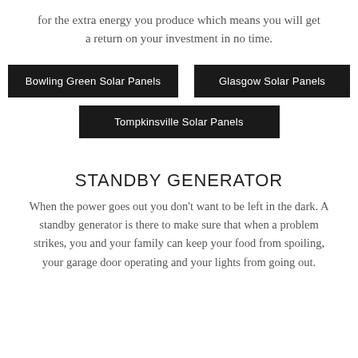for the extra energy you produce which means you will get a return on your investment in no time.
Bowling Green Solar Panels
Glasgow Solar Panels
Tompkinsville Solar Panels
STANDBY GENERATOR
When the power goes out you don't want to be left in the dark. A standby generator is there to make sure that when a problem strikes, you and your family can keep your food from spoiling, your garage door operating and your lights from going out.